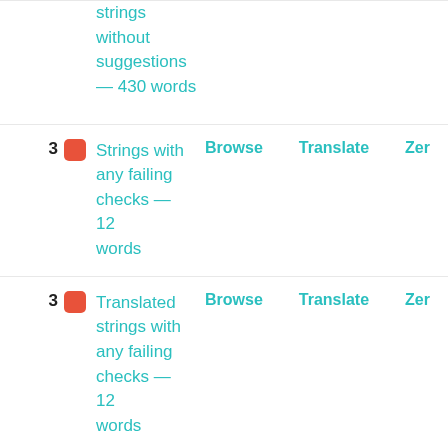strings without suggestions — 430 words | Browse | Translate | Zer
3 | Strings with any failing checks — 12 words | Browse | Translate | Zer
3 | Translated strings with any failing checks — 12 words | Browse | Translate | Zer
1 | Failing check: Unchanged translation — 2 words | Browse | Translate | Zer